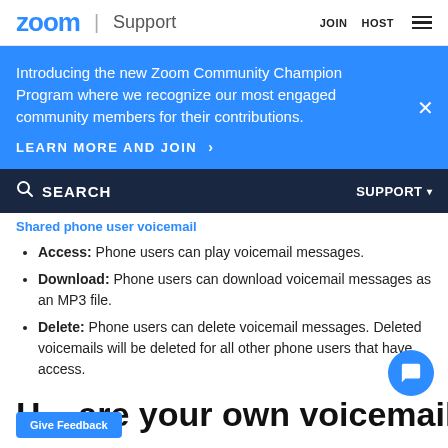zoom | Support   JOIN   HOST
Introducing the new Zoom Community Champion Program where we recognize our most engaged community members for their contributions.
LEARN MORE AND JOIN >
SEARCH   SUPPORT
Shared phone user voicemail
Access: Phone users can play voicemail messages.
Download: Phone users can download voicemail messages as an MP3 file.
Delete: Phone users can delete voicemail messages. Deleted voicemails will be deleted for all other phone users that have access.
H   are your own voicemail